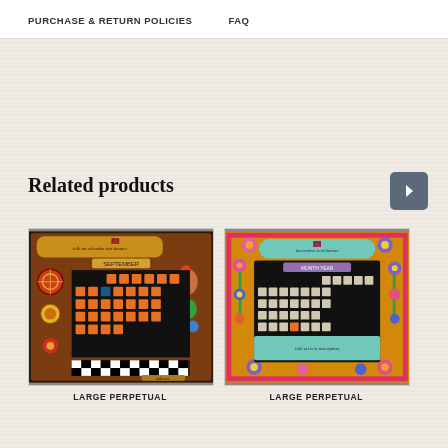PURCHASE & RETURN POLICIES    FAQ
Related products
[Figure (photo): Decorative folk-art large perpetual calendar board with colorful painted frame featuring flowers, birds, and folk motifs. Calendar grid has orange numbered tiles on black background. Black and white checkerboard border at bottom.]
[Figure (photo): Decorative folk-art large perpetual calendar board with colorful painted frame featuring flowers and folk motifs in pink, orange, and blue tones. Calendar grid has light-colored numbered tiles on black background.]
LARGE PERPETUAL
LARGE PERPETUAL